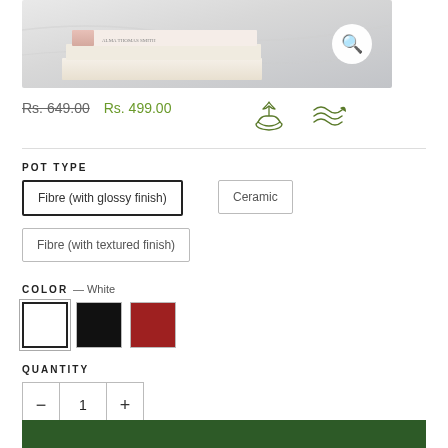[Figure (photo): Stack of books on marble surface with magnify/search icon circle in top right corner]
Rs. 649.00  Rs. 499.00
[Figure (illustration): Two eco/green icons: hands holding plant and wind/leaf motif]
POT TYPE
Fibre (with glossy finish) [selected]
Ceramic
Fibre (with textured finish)
COLOR — White
[Figure (infographic): Three color swatches: White (selected), Black, Dark Red]
QUANTITY
−  1  +